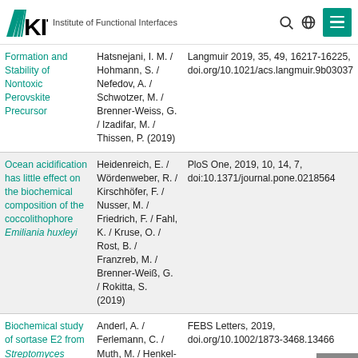KIT — Institute of Functional Interfaces
| Title | Authors | Journal |
| --- | --- | --- |
| Formation and Stability of Nontoxic Perovskite Precursor | Hatsnejani, I. M. / Hohmann, S. / Nefedov, A. / Schwotzer, M. / Brenner-Weiss, G. / Izadifar, M. / Thissen, P. (2019) | Langmuir 2019, 35, 49, 16217-16225, doi.org/10.1021/acs.langmuir.9b03037 |
| Ocean acidification has little effect on the biochemical composition of the coccolithophore Emiliania huxleyi | Heidenreich, E. / Wördenweber, R. / Kirschhöfer, F. / Nusser, M. / Friedrich, F. / Fahl, K. / Kruse, O. / Rost, B. / Franzreb, M. / Brenner-Weiß, G. / Rokitta, S. (2019) | PloS One, 2019, 10, 14, 7, doi:10.1371/journal.pone.0218564 |
| Biochemical study of sortase E2 from Streptomyces mobaraensis and determination of | Anderl, A. / Ferlemann, C. / Muth, M. / Henkel-Gupalo, A. / Ebenig, A. / | FEBS Letters, 2019, doi.org/10.1002/1873-3468.13466 |